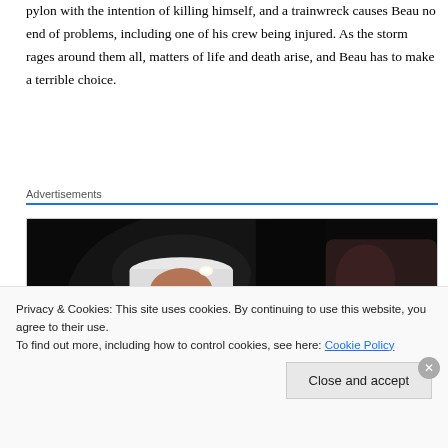pylon with the intention of killing himself, and a trainwreck causes Beau no end of problems, including one of his crew being injured. As the storm rages around them all, matters of life and death arise, and Beau has to make a terrible choice.
Advertisements
[Figure (photo): A dark film still showing a man wearing a white hard hat with a headlamp, viewed in profile, with another person partially visible on the right.]
Privacy & Cookies: This site uses cookies. By continuing to use this website, you agree to their use.
To find out more, including how to control cookies, see here: Cookie Policy
Close and accept